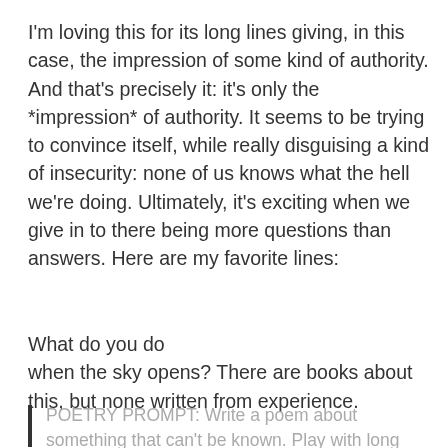I'm loving this for its long lines giving, in this case, the impression of some kind of authority. And that's precisely it: it's only the *impression* of authority. It seems to be trying to convince itself, while really disguising a kind of insecurity: none of us knows what the hell we're doing. Ultimately, it's exciting when we give in to there being more questions than answers. Here are my favorite lines:
What do you do
when the sky opens? There are books about this, but none written from experience.
POETRY PROMPT: Write a poem about something that can't be known. Play with long